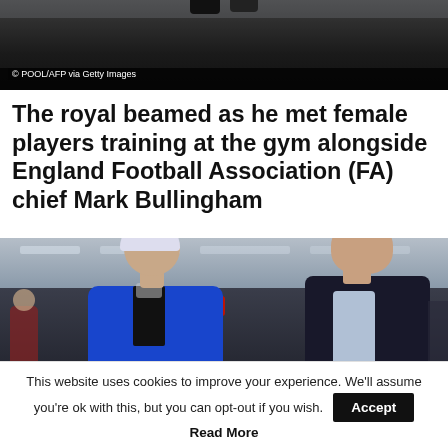[Figure (photo): Top portion of a gym scene, dark background, partial view of a person's feet/legs at top]
© POOL/AFP via Getty Images
The royal beamed as he met female players training at the gym alongside England Football Association (FA) chief Mark Bullingham
[Figure (photo): Two people walking in a gym: an older woman with white hair wearing a bright blue blazer on the left, and a bald man in a dark navy suit with a light blue shirt on the right. Gym equipment and red/blue lights visible in background.]
This website uses cookies to improve your experience. We'll assume you're ok with this, but you can opt-out if you wish. Accept Read More